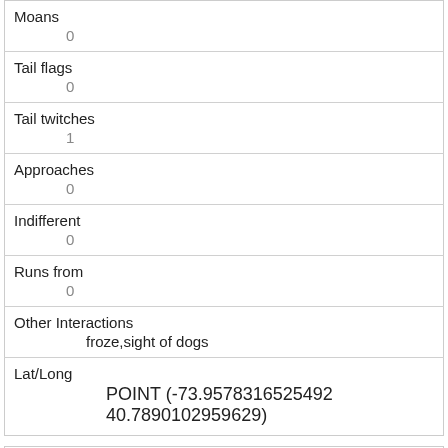| Moans | 0 |
| Tail flags | 0 |
| Tail twitches | 1 |
| Approaches | 0 |
| Indifferent | 0 |
| Runs from | 0 |
| Other Interactions | froze,sight of dogs |
| Lat/Long | POINT (-73.9578316525492 40.7890102959629) |
| Link | 405 |
| rowid |  |